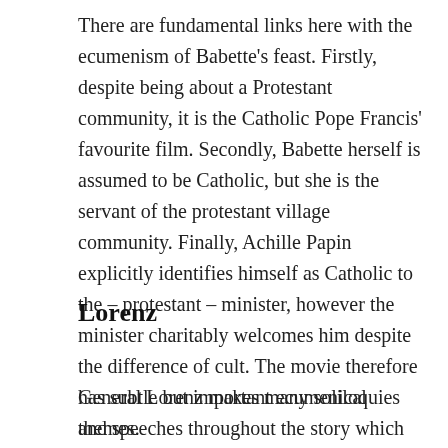There are fundamental links here with the ecumenism of Babette's feast. Firstly, despite being about a Protestant community, it is the Catholic Pope Francis' favourite film. Secondly, Babette herself is assumed to be Catholic, but she is the servant of the protestant village community. Finally, Achille Papin explicitly identifies himself as Catholic to the – protestant – minister, however the minister charitably welcomes him despite the difference of cult. The movie therefore has subtle but important ecumenical themes.
Lorenz
General Lorenz makes many soliloquies and speeches throughout the story which provides most of the theological